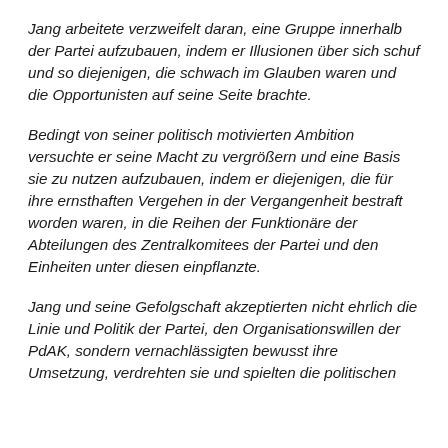Jang arbeitete verzweifelt daran, eine Gruppe innerhalb der Partei aufzubauen, indem er Illusionen über sich schuf und so diejenigen, die schwach im Glauben waren und die Opportunisten auf seine Seite brachte.
Bedingt von seiner politisch motivierten Ambition versuchte er seine Macht zu vergrößern und eine Basis sie zu nutzen aufzubauen, indem er diejenigen, die für ihre ernsthaften Vergehen in der Vergangenheit bestraft worden waren, in die Reihen der Funktionäre der Abteilungen des Zentralkomitees der Partei und den Einheiten unter diesen einpflanzte.
Jang und seine Gefolgschaft akzeptierten nicht ehrlich die Linie und Politik der Partei, den Organisationswillen der PdAK, sondern vernachlässigten bewusst ihre Umsetzung, verdrehten sie und spielten die politischen